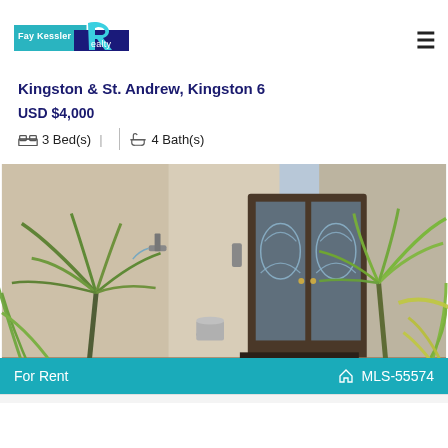[Figure (logo): Fay Kessler Realty logo — teal and dark navy blue banner with stylized R]
Kingston & St. Andrew, Kingston 6
USD $4,000
3 Bed(s) | 4 Bath(s)
[Figure (photo): Exterior photo of a residential property showing ornate glass double doors, stucco walls, a faucet on an exterior wall, a metal bucket, and lush tropical palm plants in the foreground]
For Rent
MLS-55574